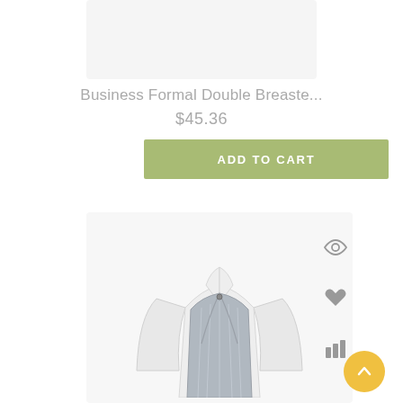[Figure (photo): Top portion of a product image placeholder (light gray rectangle)]
Business Formal Double Breaste...
$45.36
ADD TO CART
[Figure (photo): Product photo of a gray pinstripe vest worn over a white long-sleeve shirt, displayed on a mannequin without a head]
[Figure (illustration): Eye icon (quick view), heart icon (wishlist), and bar chart icon (compare) on the right side of the product card]
[Figure (illustration): Yellow circular back-to-top button with upward chevron arrow in bottom right corner]